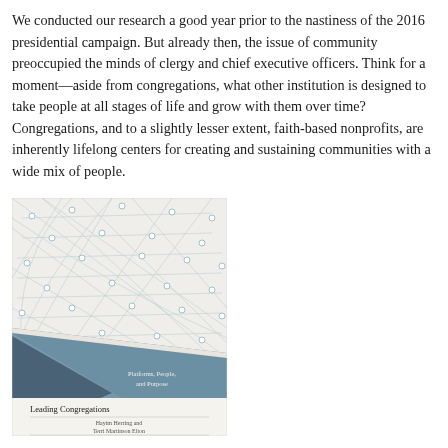We conducted our research a good year prior to the nastiness of the 2016 presidential campaign. But already then, the issue of community preoccupied the minds of clergy and chief executive officers. Think for a moment—aside from congregations, what other institution is designed to take people at all stages of life and grow with them over time? Congregations, and to a slightly lesser extent, faith-based nonprofits, are inherently lifelong centers for creating and sustaining communities with a wide mix of people.
[Figure (illustration): Book cover of 'Leading Congregations and Nonprofits in a Connected World' by Hayim Herring and Terri Martinson Elton, part of the 'Platforms, People, and Purpose' series. Cover features a geometric network diagram with nodes and connecting lines in light blue/teal on a cream background, with diagonal bands in steel blue and dark navy at the bottom.]